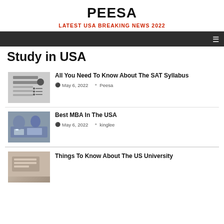PEESA
LATEST USA BREAKING NEWS 2022
Study in USA
[Figure (photo): Graduation cap on notebook with pencil and circles, SAT syllabus related image]
All You Need To Know About The SAT Syllabus
May 6, 2022  Peesa
[Figure (photo): People sitting at a table writing or studying, MBA related image]
Best MBA In The USA
May 6, 2022  kinglee
[Figure (photo): Books or documents, university related image]
Things To Know About The US University